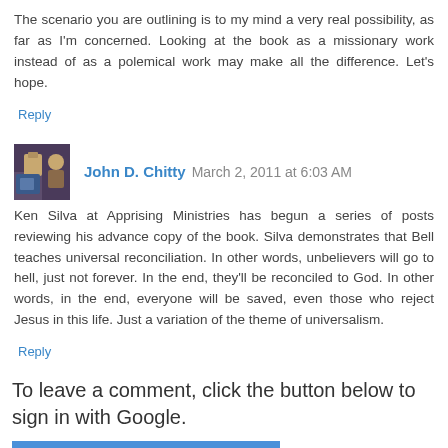The scenario you are outlining is to my mind a very real possibility, as far as I'm concerned. Looking at the book as a missionary work instead of as a polemical work may make all the difference. Let's hope.
Reply
John D. Chitty  March 2, 2011 at 6:03 AM
Ken Silva at Apprising Ministries has begun a series of posts reviewing his advance copy of the book. Silva demonstrates that Bell teaches universal reconciliation. In other words, unbelievers will go to hell, just not forever. In the end, they'll be reconciled to God. In other words, in the end, everyone will be saved, even those who reject Jesus in this life. Just a variation of the theme of universalism.
Reply
To leave a comment, click the button below to sign in with Google.
SIGN IN WITH GOOGLE